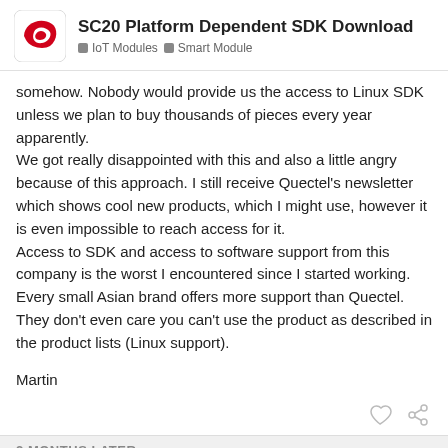SC20 Platform Dependent SDK Download | IoT Modules > Smart Module
somehow. Nobody would provide us the access to Linux SDK unless we plan to buy thousands of pieces every year apparently.
We got really disappointed with this and also a little angry because of this approach. I still receive Quectel's newsletter which shows cool new products, which I might use, however it is even impossible to reach access for it.
Access to SDK and access to software support from this company is the worst I encountered since I started working. Every small Asian brand offers more support than Quectel. They don't even care you can't use the product as described in the product lists (Linux support).
Martin
2 MONTHS LATER
Job.Bao-Q
Support
2 / 4